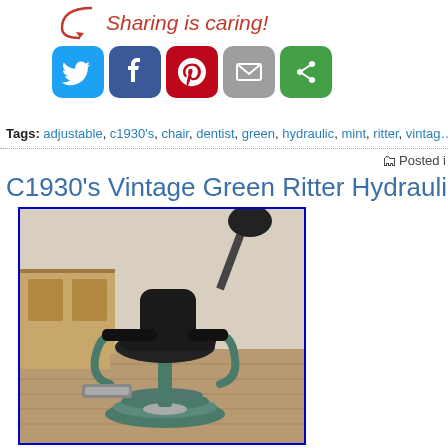[Figure (infographic): Sharing is caring! social media share buttons row: Twitter (blue), Facebook (dark blue), Pinterest (red), Email (grey), Share (green), with a red arrow and cursive text 'Sharing is caring!']
Tags: adjustable, c1930's, chair, dentist, green, hydraulic, mint, ritter, vintag…
Posted i…
C1930's Vintage Green Ritter Hydraulic / Adjustable Denti…
[Figure (photo): Photograph of a vintage c1930s green Ritter hydraulic adjustable dentist chair with black upholstery, in a room with wooden parquet floor and cabinet in background. Image has a blue border.]